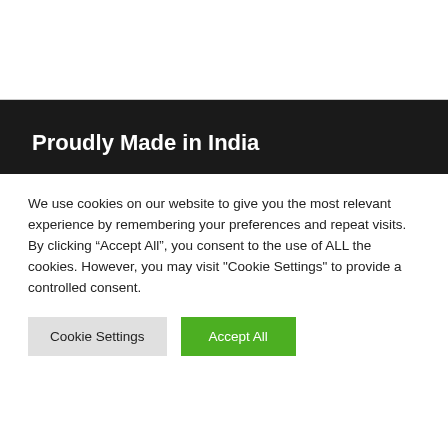Proudly Made in India
We use cookies on our website to give you the most relevant experience by remembering your preferences and repeat visits. By clicking “Accept All”, you consent to the use of ALL the cookies. However, you may visit "Cookie Settings" to provide a controlled consent.